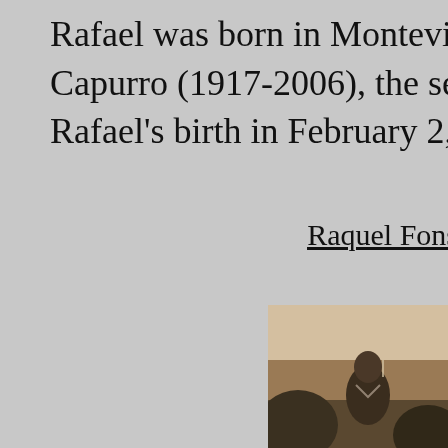Rafael was born in Montevideo in Novo... Capurro (1917-2006), the second child ... Rafael's birth in February 2, 1946. The de...
Raquel Fons...
[Figure (photo): A black and white historical photograph showing a person or persons, partially visible at the bottom right of the page.]